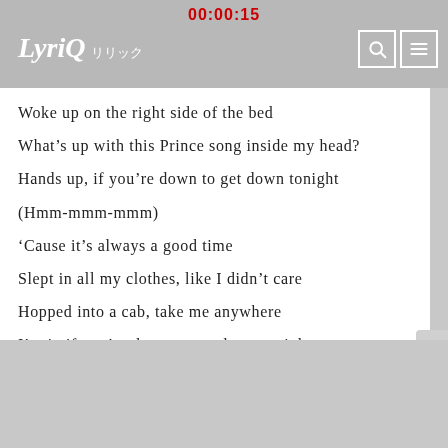00:00:15
LyriQ リリック
Woke up on the right side of the bed
What’s up with this Prince song inside my head?
Hands up, if you’re down to get down tonight
(Hmm-mmm-mmm)
‘Cause it’s always a good time
Slept in all my clothes, like I didn’t care
Hopped into a cab, take me anywhere
I’m in if you’re down to get down tonight
‘Cause it’s always a good time
□□□□□□□□□□□□□